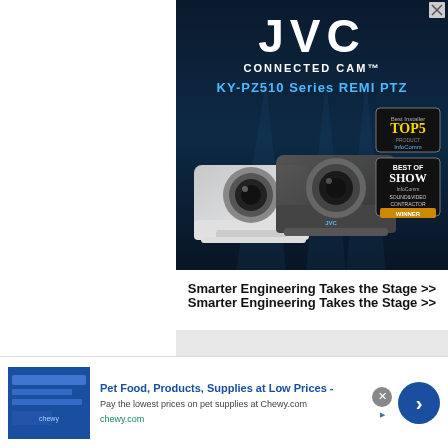[Figure (advertisement): JVC Connected Cam advertisement showing KY-PZ510 Series REMI PTZ cameras (one white, one gray) against a dark blue cityscape background. Includes 'Top 5 Products' and 'Best of Show InfoComm / Sound & Video Contractor WINNER' badges in the lower right.]
Smarter Engineering Takes the Stage >>
[Figure (advertisement): Gray placeholder rectangle for a second advertisement block.]
[Figure (advertisement): Chewy.com banner advertisement: 'Pet Food, Products, Supplies at Low Prices - Pay the lowest prices on pet supplies at Chewy.com' with a blue product image on the left and a blue circular arrow button on the right.]
Pet Food, Products, Supplies at Low Prices -
Pay the lowest prices on pet supplies at Chewy.com
chewy.com